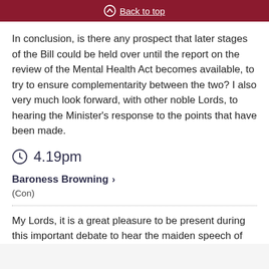Back to top
In conclusion, is there any prospect that later stages of the Bill could be held over until the report on the review of the Mental Health Act becomes available, to try to ensure complementarity between the two? I also very much look forward, with other noble Lords, to hearing the Minister's response to the points that have been made.
4.19pm
Baroness Browning
(Con)
My Lords, it is a great pleasure to be present during this important debate to hear the maiden speech of